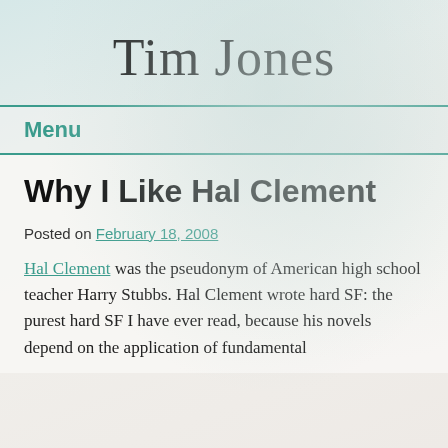Tim Jones
Menu
Why I Like Hal Clement
Posted on February 18, 2008
Hal Clement was the pseudonym of American high school teacher Harry Stubbs. Hal Clement wrote hard SF: the purest hard SF I have ever read, because his novels depend on the application of fundamental